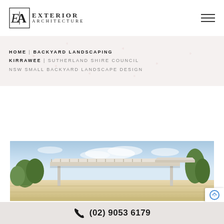[Figure (logo): Exterior Architecture logo with stylized EA monogram and text]
HOME | BACKYARD LANDSCAPING KIRRAWEE | SUTHERLAND SHIRE COUNCIL NSW SMALL BACKYARD LANDSCAPE DESIGN
[Figure (photo): Architectural rendering of a modern outdoor covered patio/pergola structure with sky and greenery in background]
(02) 9053 6179